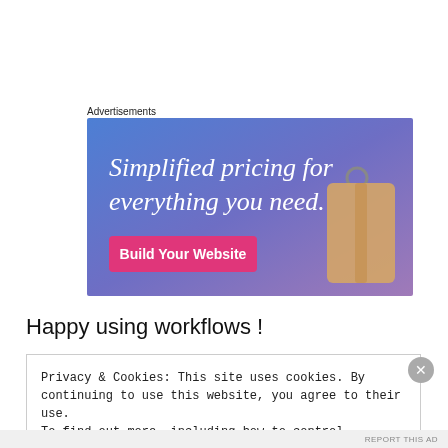Advertisements
[Figure (illustration): Advertisement banner with gradient blue-purple background showing a price tag image and text 'Simplified pricing for everything you need.' with a pink 'Build Your Website' button.]
Happy using workflows !
Privacy & Cookies: This site uses cookies. By continuing to use this website, you agree to their use.
To find out more, including how to control cookies, see here: Cookie Policy
REPORT THIS AD